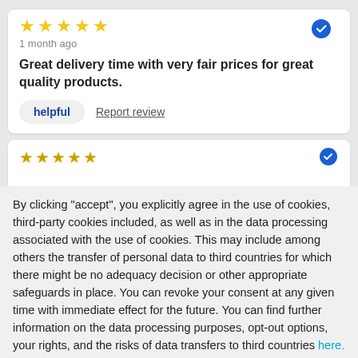[Figure (other): Five yellow star rating icons]
1 month ago
Great delivery time with very fair prices for great quality products.
helpful
Report review
[Figure (other): Five yellow star rating icons (second review card, partially visible)]
By clicking "accept", you explicitly agree in the use of cookies, third-party cookies included, as well as in the data processing associated with the use of cookies. This may include among others the transfer of personal data to third countries for which there might be no adequacy decision or other appropriate safeguards in place. You can revoke your consent at any given time with immediate effect for the future. You can find further information on the data processing purposes, opt-out options, your rights, and the risks of data transfers to third countries here.
ACCEPT